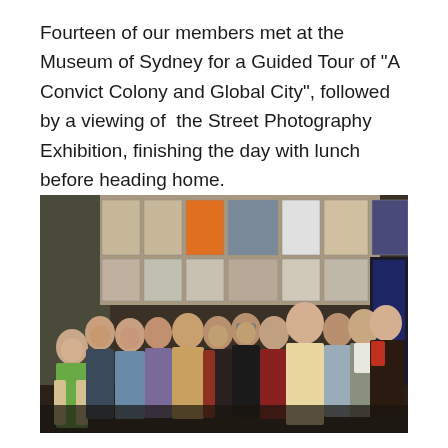Fourteen of our members met at the Museum of Sydney for a Guided Tour of "A Convict Colony and Global City", followed by a viewing of the Street Photography Exhibition, finishing the day with lunch before heading home.
[Figure (photo): A group of fourteen women standing together inside a museum, in front of a display wall with framed photographs and exhibition panels. The women are dressed in winter clothing in various colors including green, blue, beige, red, and dark tones.]